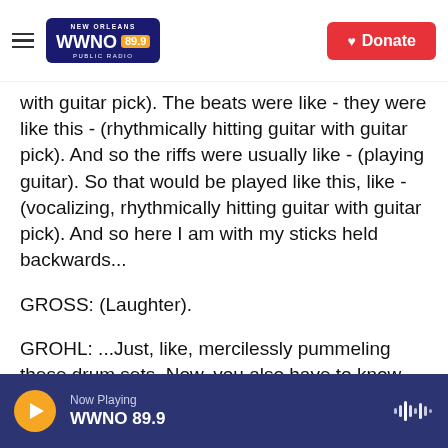NEW ORLEANS WWNO 89.9 PUBLIC RADIO | Donate
with guitar pick). The beats were like - they were like this - (rhythmically hitting guitar with guitar pick). And so the riffs were usually like - (playing guitar). So that would be played like this, like - (vocalizing, rhythmically hitting guitar with guitar pick). And so here I am with my sticks held backwards...
GROSS: (Laughter).
GROHL: ...Just, like, mercilessly pummeling these drum sets. Now, you also have to know that I didn't learn to play the drums on a drum set. I learned to play on pillows on my bedroom floor. So I had a pair
Now Playing WWNO 89.9